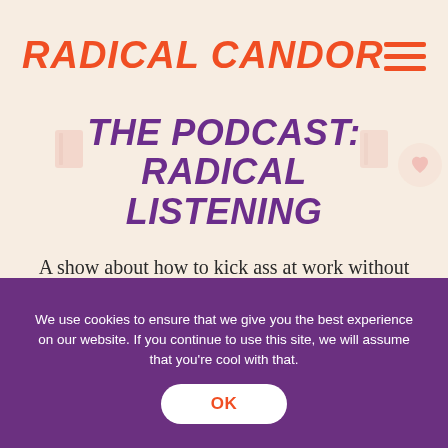RADICAL CANDOR
THE PODCAST: RADICAL LISTENING
A show about how to kick ass at work without losing your humanity
We use cookies to ensure that we give you the best experience on our website. If you continue to use this site, we will assume that you're cool with that.